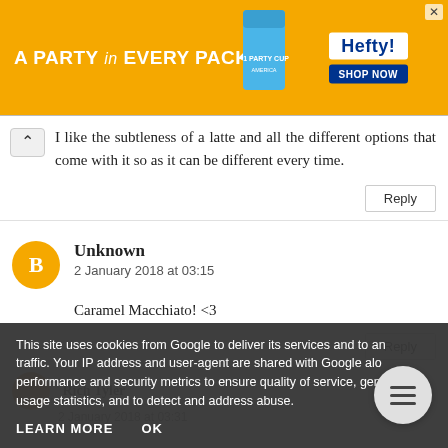[Figure (other): Hefty advertisement banner: orange background with text 'A PARTY in EVERY PACK', Hefty cup image, Hefty logo in white box, and 'SHOP NOW' blue button]
I like the subtleness of a latte and all the different options that come with it so as it can be different every time.
Reply
Unknown
2 January 2018 at 03:15
Caramel Macchiato! <3
Reply
This site uses cookies from Google to deliver its services and to analyze traffic. Your IP address and user-agent are shared with Google along with performance and security metrics to ensure quality of service, generate usage statistics, and to detect and address abuse.
LEARN MORE   OK